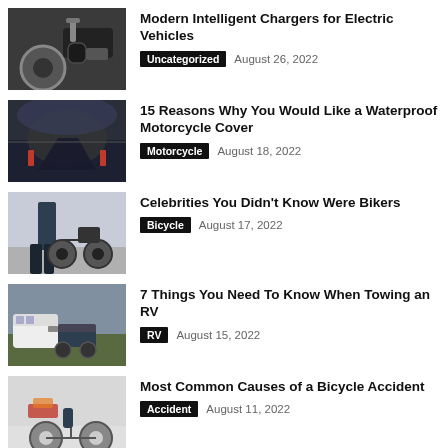Modern Intelligent Chargers for Electric Vehicles | Uncategorized | August 26, 2022
15 Reasons Why You Would Like a Waterproof Motorcycle Cover | Motorcycle | August 18, 2022
Celebrities You Didn’t Know Were Bikers | Bicycle | August 17, 2022
7 Things You Need To Know When Towing an RV | RV | August 15, 2022
Most Common Causes of a Bicycle Accident | Accident | August 11, 2022